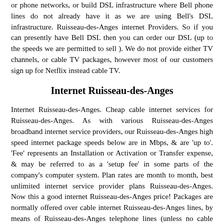or phone networks, or build DSL infrastructure where Bell phone lines do not already have it as we are using Bell's DSL infrastructure. Ruisseau-des-Anges internet Providers. So if you can presently have Bell DSL then you can order our DSL (up to the speeds we are permitted to sell ). We do not provide either TV channels, or cable TV packages, however most of our customers sign up for Netflix instead cable TV.
Internet Ruisseau-des-Anges
Internet Ruisseau-des-Anges. Cheap cable internet services for Ruisseau-des-Anges. As with various Ruisseau-des-Anges broadband internet service providers, our Ruisseau-des-Anges high speed internet package speeds below are in Mbps, & are 'up to'. 'Fee' represents an Installation or Activation or Transfer expense, & may be referred to as a 'setup fee' in some parts of the company's computer system. Plan rates are month to month, best unlimited internet service provider plans Ruisseau-des-Anges. Now this a good internet Ruisseau-des-Anges price! Packages are normally offered over cable internet Ruisseau-des-Anges lines, by means of Ruisseau-des-Anges telephone lines (unless no cable lines are available at that address or area in which case we may have DSL internet options), & as such are frequently not able to be provided in rural areas except if cable is available there (or unless DSL internet is available). Curious about the rates of